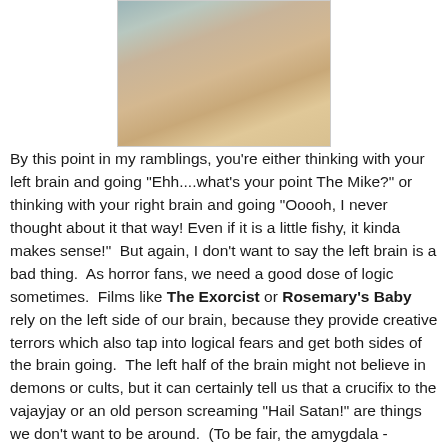[Figure (photo): A person lying in bed with beige/tan bedding and pillows, photographed from above in warm tones.]
By this point in my ramblings, you're either thinking with your left brain and going "Ehh....what's your point The Mike?" or thinking with your right brain and going "Ooooh, I never thought about it that way! Even if it is a little fishy, it kinda makes sense!"  But again, I don't want to say the left brain is a bad thing.  As horror fans, we need a good dose of logic sometimes.  Films like The Exorcist or Rosemary's Baby rely on the left side of our brain, because they provide creative terrors which also tap into logical fears and get both sides of the brain going.  The left half of the brain might not believe in demons or cults, but it can certainly tell us that a crucifix to the vajayjay or an old person screaming "Hail Satan!" are things we don't want to be around.  (To be fair, the amygdala - commonly known as the brain's "fear center" has something to do with this as well.) And what if there was no left half of the brain to say "Hey The Mike, those Paranormal Activity demons haven't been with you since childhood, and they don't just show up, so you're totally safe..."